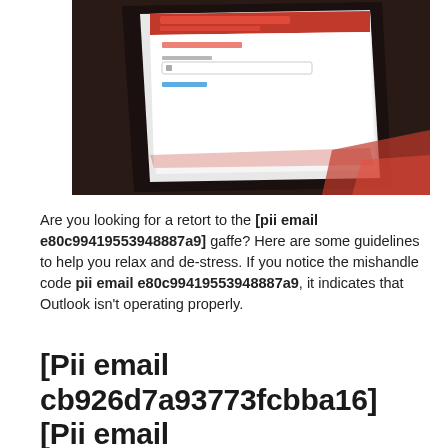[Figure (photo): Close-up photograph of a tablet or phone screen showing an authentication failed / login error screen with red error text and a login form]
Are you looking for a retort to the [pii email e80c99419553948887a9] gaffe? Here are some guidelines to help you relax and de-stress. If you notice the mishandle code pii email e80c99419553948887a9, it indicates that Outlook isn't operating properly.
[Pii email cb926d7a93773fcbba16] [Pii email cb926d7a93773fcbba16] [Pii